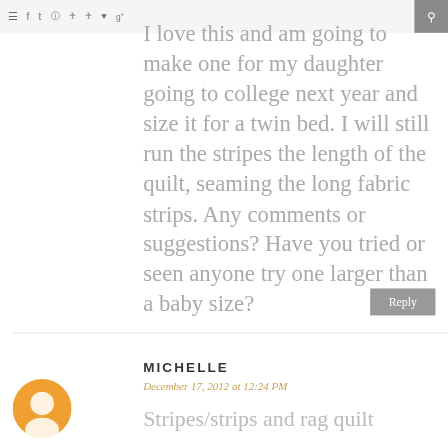≡  f  t  [camera]  [pinterest]  [pinterest]  ♥  g+  [search]
I love this and am going to make one for my daughter going to college next year and size it for a twin bed. I will still run the stripes the length of the quilt, seaming the long fabric strips. Any comments or suggestions? Have you tried or seen anyone try one larger than a baby size?
Reply
MICHELLE
December 17, 2012 at 12:24 PM
Stripes/strips and rag quilt